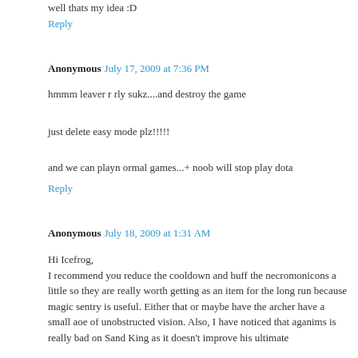well thats my idea :D
Reply
Anonymous July 17, 2009 at 7:36 PM
hmmm leaver r rly sukz....and destroy the game
just delete easy mode plz!!!!!
and we can playn ormal games...+ noob will stop play dota
Reply
Anonymous July 18, 2009 at 1:31 AM
Hi Icefrog,
I recommend you reduce the cooldown and buff the necromonicons a little so they are really worth getting as an item for the long run because magic sentry is useful. Either that or maybe have the archer have a small aoe of unobstructed vision. Also, I have noticed that aganims is really bad on Sand King as it doesn't improve his ultimate